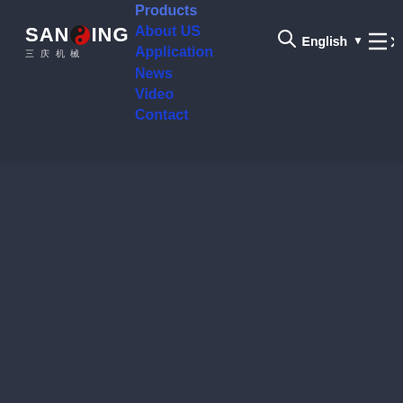[Figure (logo): SANQING (三庆机械) company logo with red circle/yin-yang emblem between SAN and ING text]
Products
About US
Application
News
Video
Contact